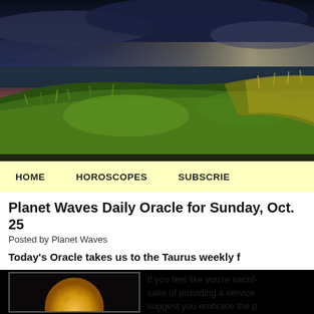[Figure (photo): Landscape photo showing coastal grasses in foreground with dark dramatic sky and water in background, golden hour lighting]
HOME    HOROSCOPES    SUBSCRIBE
Planet Waves Daily Oracle for Sunday, Oct. 25
Posted by Planet Waves
Today's Oracle takes us to the Taurus weekly f
[Figure (photo): Full moon rising against a dark night sky, large golden-orange moon near horizon]
If you feel like you're sacrif- sake of providing a service suggest you embrace the p